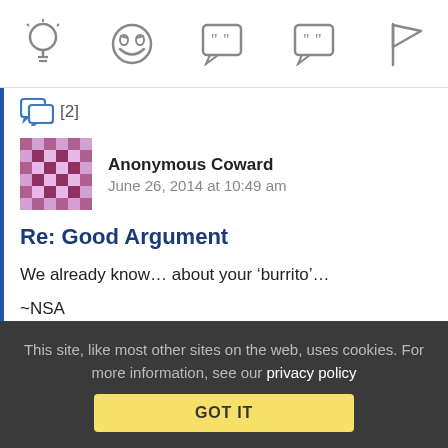[Figure (infographic): Top toolbar with five icons: lightbulb, laughing emoji, speech bubble with quote marks, speech bubble with quote marks (smaller), and flag]
[2]
[Figure (illustration): Anonymous Coward avatar — a pixelated/mosaic pattern in pink and purple]
Anonymous Coward   June 26, 2014 at 10:49 am
Re: Good Argument
We already know… about your 'burrito'…
~NSA
Reply | View in chronology
This site, like most other sites on the web, uses cookies. For more information, see our privacy policy  GOT IT